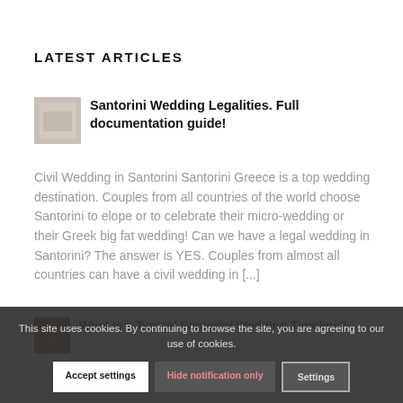LATEST ARTICLES
[Figure (photo): Small thumbnail of a wedding document or fabric, grayish-beige tones]
Santorini Wedding Legalities. Full documentation guide!
Civil Wedding in Santorini Santorini Greece is a top wedding destination. Couples from all countries of the world choose Santorini to elope or to celebrate their micro-wedding or their Greek big fat wedding! Can we have a legal wedding in Santorini? The answer is YES. Couples from almost all countries can have a civil wedding in [...]
[Figure (photo): Small thumbnail, dark reddish/brown tones, appears to show a sunset or fire]
What Is a Typical Santorini Wedding Timeline?
Creating... wedding timeline is a challenging process and a well experienced...
This site uses cookies. By continuing to browse the site, you are agreeing to our use of cookies.